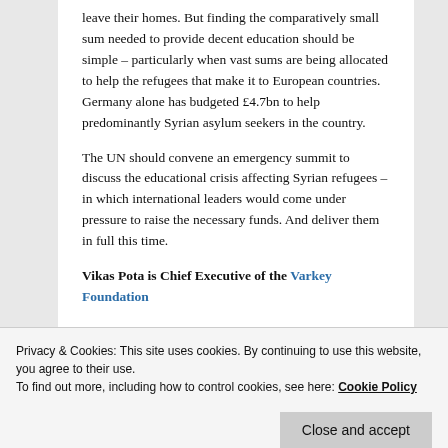leave their homes. But finding the comparatively small sum needed to provide decent education should be simple – particularly when vast sums are being allocated to help the refugees that make it to European countries. Germany alone has budgeted £4.7bn to help predominantly Syrian asylum seekers in the country.
The UN should convene an emergency summit to discuss the educational crisis affecting Syrian refugees – in which international leaders would come under pressure to raise the necessary funds. And deliver them in full this time.
Vikas Pota is Chief Executive of the Varkey Foundation
Privacy & Cookies: This site uses cookies. By continuing to use this website, you agree to their use.
To find out more, including how to control cookies, see here: Cookie Policy
Close and accept
From the hyper-local to the global, we can build...